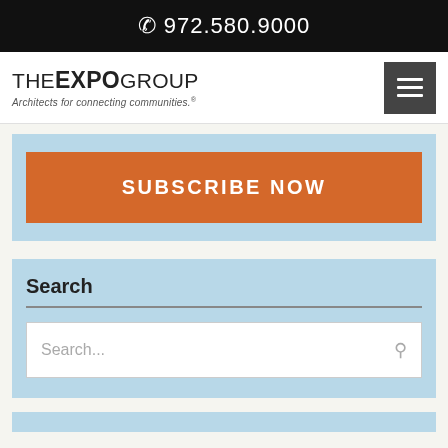972.580.9000
[Figure (logo): THE EXPO GROUP logo with tagline 'Architects for connecting communities.']
SUBSCRIBE NOW
Search
Search...